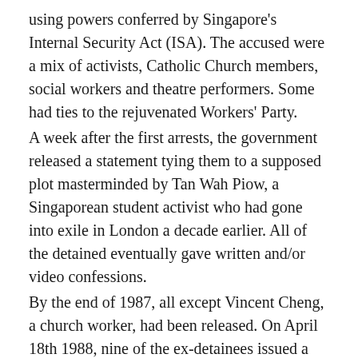using powers conferred by Singapore's Internal Security Act (ISA). The accused were a mix of activists, Catholic Church members, social workers and theatre performers. Some had ties to the rejuvenated Workers' Party. A week after the first arrests, the government released a statement tying them to a supposed plot masterminded by Tan Wah Piow, a Singaporean student activist who had gone into exile in London a decade earlier. All of the detained eventually gave written and/or video confessions. By the end of 1987, all except Vincent Cheng, a church worker, had been released. On April 18th 1988, nine of the ex-detainees issued a statement recanting their confessions, saying they had been made under duress. All but one, who was overseas, were rearrested the next day. They eventually reaffirmed their original statements and were again released. Two lawyers representing the detainees were also arrested, detained and later released. Cheng, the last detainee, was